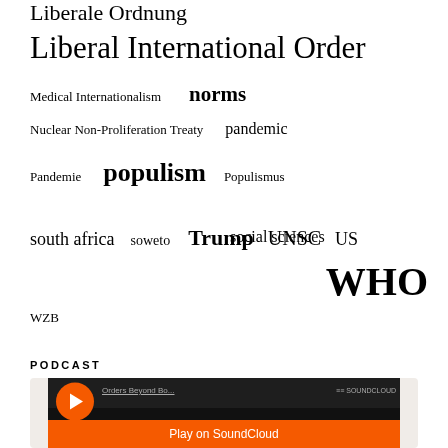Liberale Ordnung
Liberal International Order
Medical Internationalism   norms
Nuclear Non-Proliferation Treaty   pandemic
Pandemie   populism   Populismus
social sciences
south africa   soweto   Trump   UNSC   US
WHO
WZB
PODCAST
[Figure (screenshot): SoundCloud embedded podcast player showing 'Orders Beyond Bo...' with play button and 'Play on SoundCloud' orange banner]